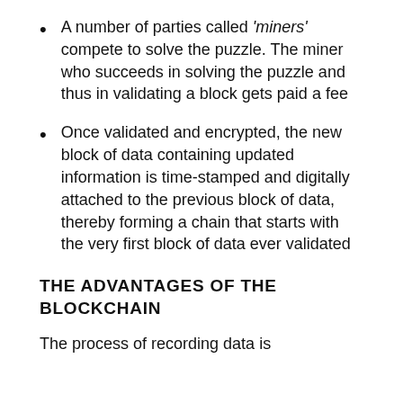A number of parties called 'miners' compete to solve the puzzle. The miner who succeeds in solving the puzzle and thus in validating a block gets paid a fee
Once validated and encrypted, the new block of data containing updated information is time-stamped and digitally attached to the previous block of data, thereby forming a chain that starts with the very first block of data ever validated
THE ADVANTAGES OF THE BLOCKCHAIN
The process of recording data is